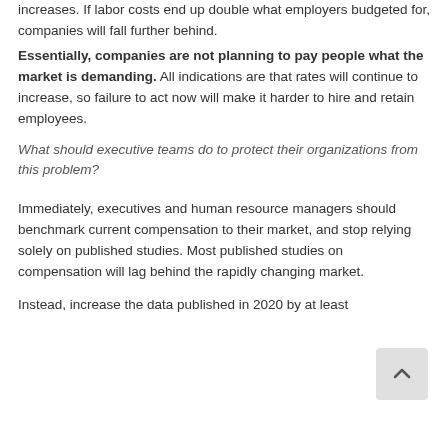increases. If labor costs end up double what employers budgeted for, companies will fall further behind. Essentially, companies are not planning to pay people what the market is demanding. All indications are that rates will continue to increase, so failure to act now will make it harder to hire and retain employees.
What should executive teams do to protect their organizations from this problem?
Immediately, executives and human resource managers should benchmark current compensation to their market, and stop relying solely on published studies. Most published studies on compensation will lag behind the rapidly changing market.
Instead, increase the data published in 2020 by at least